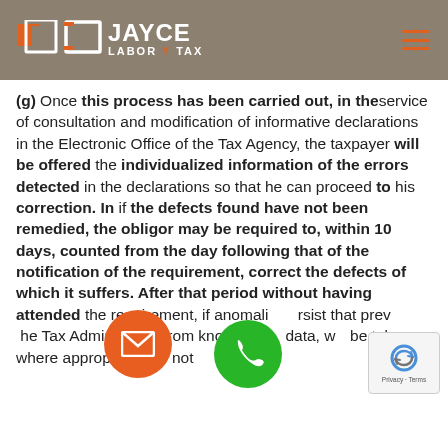JAYCE LABOR TAX
(g) Once this process has been carried out, in the service of consultation and modification of informative declarations in the Electronic Office of the Tax Agency, the taxpayer will be offered the individualized information of the errors detected in the declarations so that he can proceed to his correction. In if the defects found have not been remedied, the obligor may be required to, within 10 days, counted from the day following that of the notification of the requirement, correct the defects of which it suffers. After that period without having attended the requirement, if anomalies persist that prevent the Tax Administration from knowing the data, will be taken, where appropriate, for not